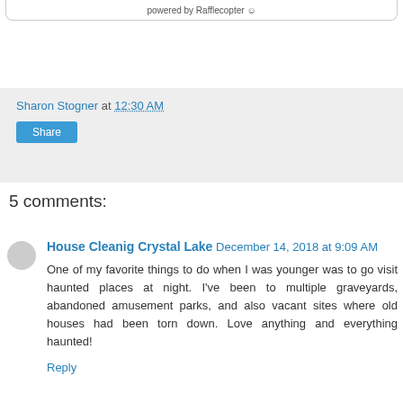powered by Rafflecopter
Sharon Stogner at 12:30 AM
Share
5 comments:
House Cleanig Crystal Lake  December 14, 2018 at 9:09 AM
One of my favorite things to do when I was younger was to go visit haunted places at night. I've been to multiple graveyards, abandoned amusement parks, and also vacant sites where old houses had been torn down. Love anything and everything haunted!
Reply